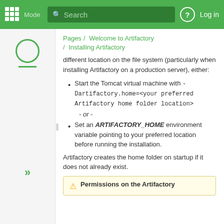Mode Search | Log in
Pages / Welcome to Artifactory / Installing Artifactory
different location on the file system (particularly when installing Artifactory on a production server), either:
Start the Tomcat virtual machine with -Dartifactory.home=<your preferred Artifactory home folder location>
- or -
Set an ARTIFACTORY_HOME environment variable pointing to your preferred location before running the installation.
Artifactory creates the home folder on startup if it does not already exist.
Permissions on the Artifactory